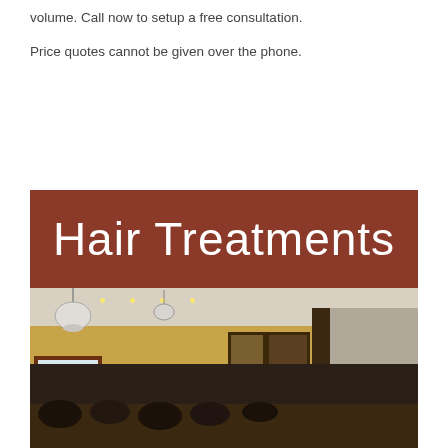volume. Call now to setup a free consultation.
Price quotes cannot be given over the phone.
[Figure (photo): Hair Treatments section header with dark red/brown background and white text reading 'Hair Treatments', above a photo of a hair salon interior with warm yellow walls, pendant lighting, framed artwork, stainless steel panels, and salon chairs.]